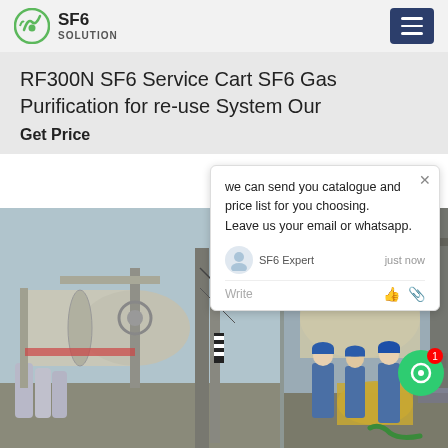SF6 SOLUTION
RF300N SF6 Service Cart SF6 Gas Purification for re-use System Our
Get Price
[Figure (screenshot): Chat popup widget with message: 'we can send you catalogue and price list for you choosing. Leave us your email or whatsapp.' Agent listed as 'SF6 Expert', time 'just now', with Write field and action icons.]
[Figure (photo): Industrial site showing large cylindrical tanks and equipment on the left, and workers in blue coveralls and hard hats working on machinery on the right.]